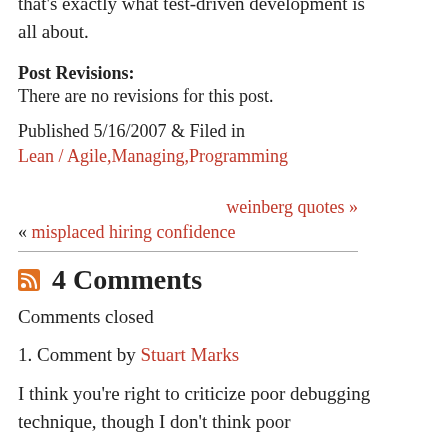that's exactly what test-driven development is all about.
Post Revisions:
There are no revisions for this post.
Published 5/16/2007 & Filed in Lean / Agile,Managing,Programming
weinberg quotes »
« misplaced hiring confidence
4 Comments
Comments closed
1. Comment by Stuart Marks
I think you're right to criticize poor debugging technique, though I don't think poor